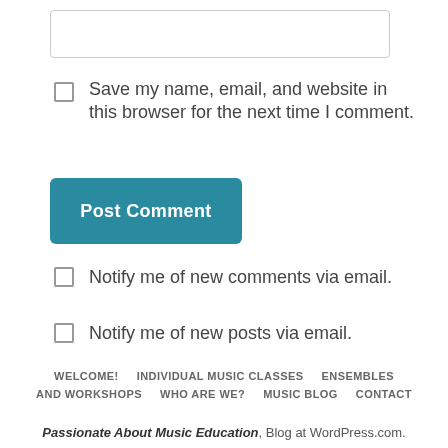[input box]
Save my name, email, and website in this browser for the next time I comment.
Post Comment
Notify me of new comments via email.
Notify me of new posts via email.
WELCOME! INDIVIDUAL MUSIC CLASSES ENSEMBLES AND WORKSHOPS WHO ARE WE? MUSIC BLOG CONTACT
Passionate About Music Education, Blog at WordPress.com.